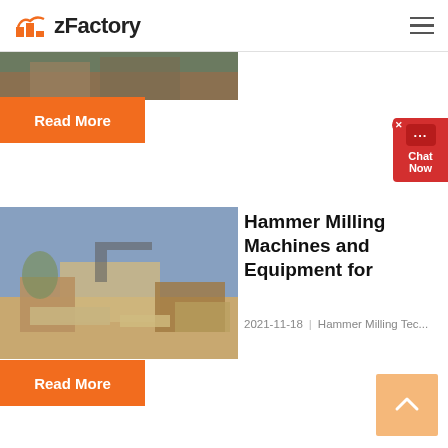zFactory
[Figure (photo): Partial view of construction/quarry machinery, cropped at top of page]
Read More
[Figure (photo): Hammer milling machine / excavator at a quarry site with blue sky background]
Hammer Milling Machines and Equipment for
2021-11-18   Hammer Milling Tec...
Read More